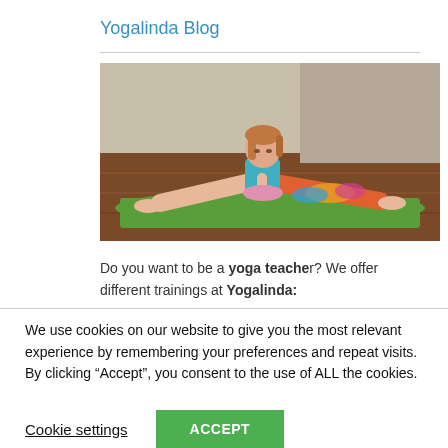Yogalinda Blog
[Figure (photo): Woman performing a yoga splits pose (samakonasana) on a green mat on a wooden floor, leaning forward with hands in prayer position]
Do you want to be a yoga teacher? We offer different trainings at Yogalinda:
We use cookies on our website to give you the most relevant experience by remembering your preferences and repeat visits. By clicking “Accept”, you consent to the use of ALL the cookies.
Cookie settings   ACCEPT